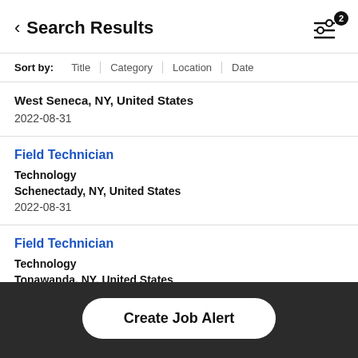Search Results
Sort by: Title | Category | Location | Date
West Seneca, NY, United States
2022-08-31
Field Technician
Technology
Schenectady, NY, United States
2022-08-31
Field Technician
Technology
Tonawanda, NY, United States
Create Job Alert